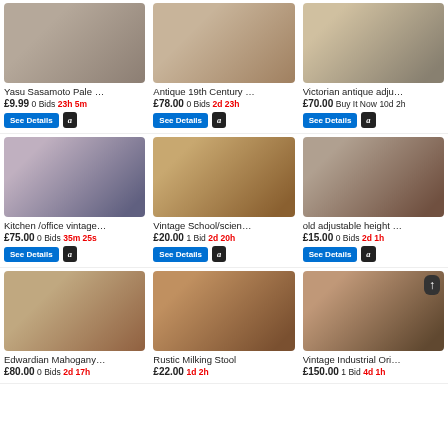[Figure (photo): Yasu Sasamoto Pale stool product photo]
Yasu Sasamoto Pale …
£9.99 0 Bids 23h 5m
[Figure (photo): Antique 19th Century stool product photo]
Antique 19th Century …
£78.00 0 Bids 2d 23h
[Figure (photo): Victorian antique adjustable stool product photo]
Victorian antique adju…
£70.00 Buy It Now 10d 2h
[Figure (photo): Kitchen/office vintage stool product photo]
Kitchen /office vintage…
£75.00 0 Bids 35m 25s
[Figure (photo): Vintage School/science stool product photo]
Vintage School/scien…
£20.00 1 Bid 2d 20h
[Figure (photo): Old adjustable height stool product photo]
old adjustable height …
£15.00 0 Bids 2d 1h
[Figure (photo): Edwardian Mahogany stool product photo]
Edwardian Mahogany…
£80.00 0 Bids 2d 17h
[Figure (photo): Rustic Milking Stool product photo]
Rustic Milking Stool
£22.00 1d 2h
[Figure (photo): Vintage Industrial Original stool product photo]
Vintage Industrial Ori…
£150.00 1 Bid 4d 1h